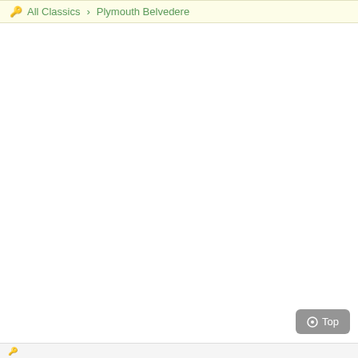All Classics › Plymouth Belvedere
Top